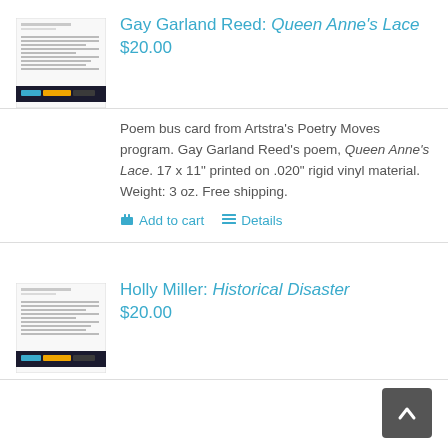[Figure (illustration): Thumbnail of poem bus card for Gay Garland Reed's Queen Anne's Lace, showing text of poem with Artstra's Poetry Moves branding at bottom]
Gay Garland Reed: Queen Anne's Lace
$20.00
Poem bus card from Artstra's Poetry Moves program. Gay Garland Reed's poem, Queen Anne's Lace. 17 x 11" printed on .020" rigid vinyl material. Weight: 3 oz. Free shipping.
Add to cart
Details
[Figure (illustration): Thumbnail of poem bus card for Holly Miller's Historical Disaster, showing text of poem with Artstra's Poetry Moves branding at bottom]
Holly Miller: Historical Disaster
$20.00